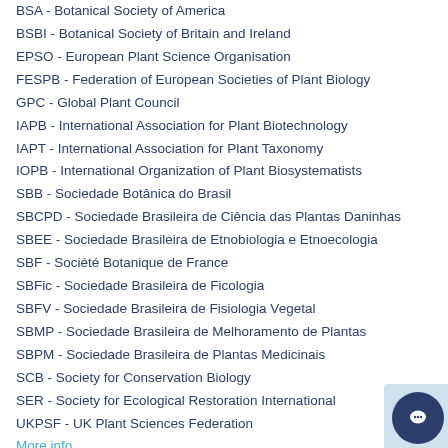BSA - Botanical Society of America
BSBI - Botanical Society of Britain and Ireland
EPSO - European Plant Science Organisation
FESPB - Federation of European Societies of Plant Biology
GPC - Global Plant Council
IAPB - International Association for Plant Biotechnology
IAPT - International Association for Plant Taxonomy
IOPB - International Organization of Plant Biosystematists
SBB - Sociedade Botânica do Brasil
SBCPD - Sociedade Brasileira de Ciência das Plantas Daninhas
SBEE - Sociedade Brasileira de Etnobiologia e Etnoecologia
SBF - Société Botanique de France
SBFic - Sociedade Brasileira de Ficologia
SBFV - Sociedade Brasileira de Fisiologia Vegetal
SBMP - Sociedade Brasileira de Melhoramento de Plantas
SBPM - Sociedade Brasileira de Plantas Medicinais
SCB - Society for Conservation Biology
SER - Society for Ecological Restoration International
UKPSF - UK Plant Sciences Federation
More info...